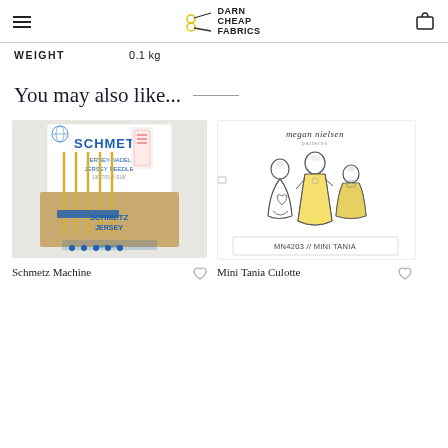Darn Cheap Fabrics — navigation header with hamburger menu and bag icon
| WEIGHT |  |
| --- | --- |
| WEIGHT | 0.1 kg |
You may also like...
[Figure (photo): Schmetz Jersey Machine Needles product packaging photo — blue and white card with 5 needles, 130/705 H SUK]
[Figure (photo): Megan Nielsen Mini Tania Culotte sewing pattern packaging — illustration of two girls in dresses, MN4203 // MINI TANIA]
Schmetz Machine
Mini Tania Culotte